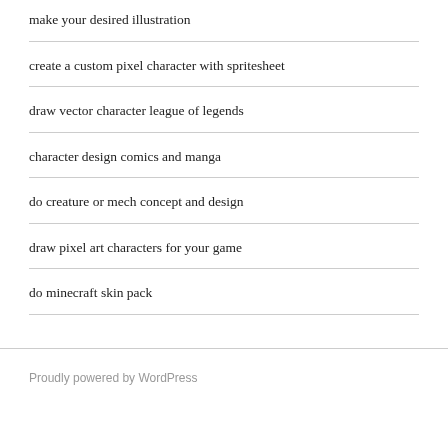make your desired illustration
create a custom pixel character with spritesheet
draw vector character league of legends
character design comics and manga
do creature or mech concept and design
draw pixel art characters for your game
do minecraft skin pack
Proudly powered by WordPress